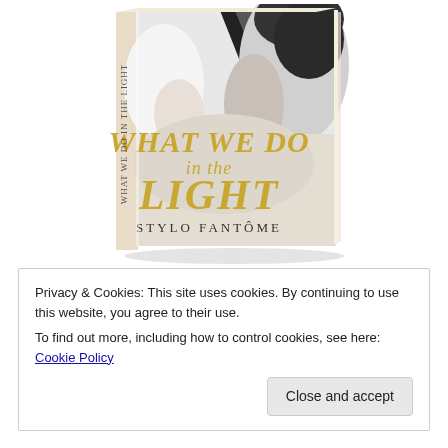[Figure (photo): 3D book cover of 'What We Do in the Light' by Stylo Fantôme. Black and white photo of an intimate couple on the cover with gold serif title text.]
Privacy & Cookies: This site uses cookies. By continuing to use this website, you agree to their use.
To find out more, including how to control cookies, see here: Cookie Policy
Close and accept